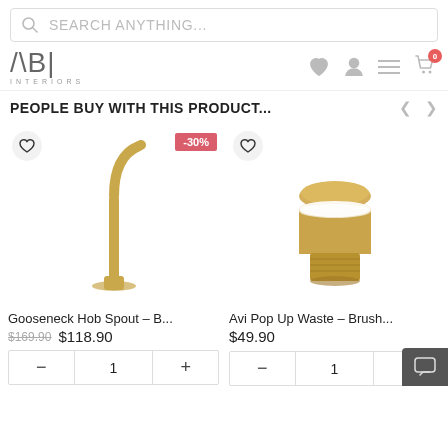[Figure (screenshot): Search bar with magnifier icon and placeholder text SEARCH ANYTHING...]
[Figure (logo): ABI Interiors logo with navigation icons: heart, user, menu, cart with badge 0]
PEOPLE BUY WITH THIS PRODUCT...
[Figure (photo): Gooseneck Hob Spout in brushed gold/brass finish, product image with -30% discount badge and wishlist heart button]
[Figure (photo): Avi Pop Up Waste in brushed gold finish, product image with wishlist heart button]
Gooseneck Hob Spout – B...
$169.90 $118.90
Avi Pop Up Waste – Brush...
$49.90